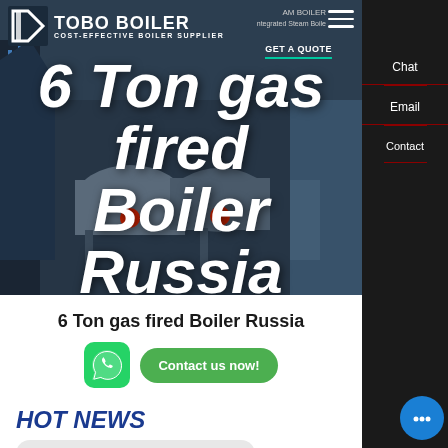[Figure (screenshot): TOBO BOILER company website hero section with dark blue industrial background showing boiler equipment]
TOBO BOILER — COST-EFFECTIVE BOILER SUPPLIER
6 Ton gas fired Boiler Russia
6 Ton gas fired Boiler Russia
Contact us now!
HOT NEWS
Hey, we are live 24/7. How may I help you?
4t Commercial Boiler Brand Cheap Belarus